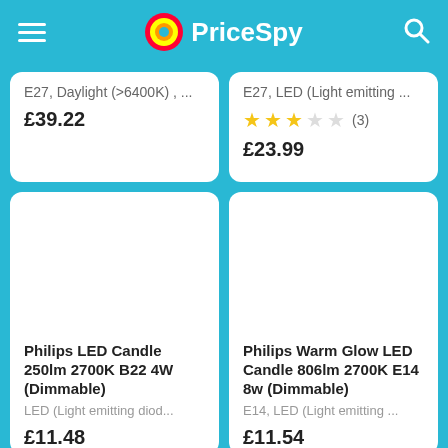PriceSpy
E27, Daylight (>6400K) , ...
£39.22
E27, LED (Light emitting ...
(3)
£23.99
Philips LED Candle 250lm 2700K B22 4W (Dimmable)
LED (Light emitting diod...
£11.48
Philips Warm Glow LED Candle 806lm 2700K E14 8w (Dimmable)
E14, LED (Light emitting ...
£11.54